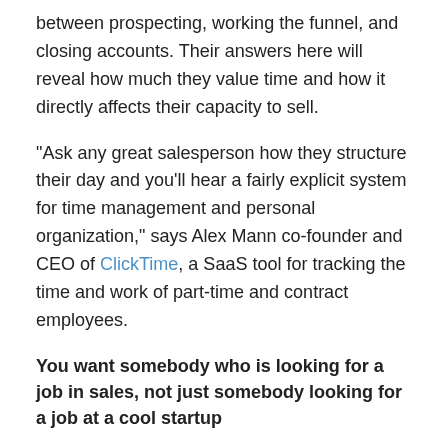between prospecting, working the funnel, and closing accounts. Their answers here will reveal how much they value time and how it directly affects their capacity to sell.
"Ask any great salesperson how they structure their day and you'll hear a fairly explicit system for time management and personal organization," says Alex Mann co-founder and CEO of ClickTime, a SaaS tool for tracking the time and work of part-time and contract employees.
You want somebody who is looking for a job in sales, not just somebody looking for a job at a cool startup
Many of the people in the latter group will try and tack out of sales into other areas they might prefer. There's nothing wrong with that, but if they're focusing on different skills and different areas of the company when they're supposed to be selling, their performance, and